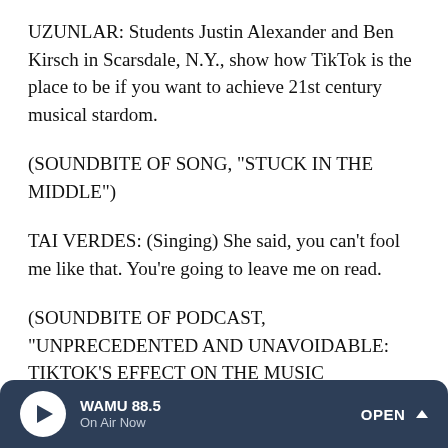UZUNLAR: Students Justin Alexander and Ben Kirsch in Scarsdale, N.Y., show how TikTok is the place to be if you want to achieve 21st century musical stardom.
(SOUNDBITE OF SONG, "STUCK IN THE MIDDLE")
TAI VERDES: (Singing) She said, you can't fool me like that. You're going to leave me on read.
(SOUNDBITE OF PODCAST, "UNPRECEDENTED AND UNAVOIDABLE: TIKTOK'S EFFECT ON THE MUSIC INDUSTRY")
UNIDENTIFIED STUDENT #4: Just one year later, he's become one of the most popular artists on Spotify, sold out
WAMU 88.5 On Air Now OPEN